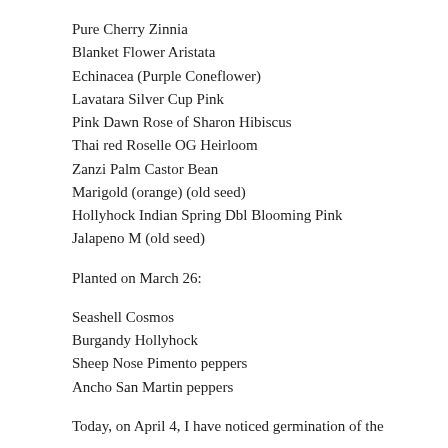Pure Cherry Zinnia
Blanket Flower Aristata
Echinacea (Purple Coneflower)
Lavatara Silver Cup Pink
Pink Dawn Rose of Sharon Hibiscus
Thai red Roselle OG Heirloom
Zanzi Palm Castor Bean
Marigold (orange) (old seed)
Hollyhock Indian Spring Dbl Blooming Pink
Jalapeno M (old seed)
Planted on March 26:
Seashell Cosmos
Burgandy Hollyhock
Sheep Nose Pimento peppers
Ancho San Martin peppers
Today, on April 4, I have noticed germination of the